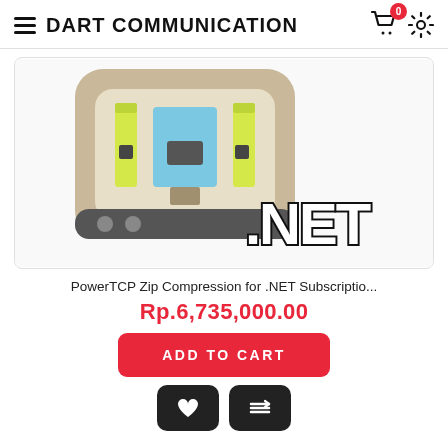DART COMMUNICATION
[Figure (illustration): Product image for PowerTCP Zip Compression for .NET — shows a stylized chip/circuit board illustration with yellow, blue, grey components on a tan/beige background, with '.NET' text overlay in bold black outlined letters]
PowerTCP Zip Compression for .NET Subscriptio...
Rp.6,735,000.00
ADD TO CART